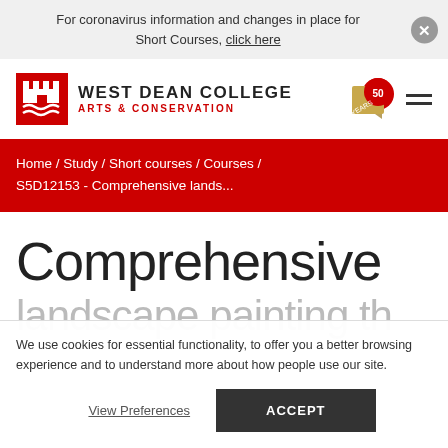For coronavirus information and changes in place for Short Courses, click here
[Figure (logo): West Dean College Arts & Conservation logo with red castle icon and 50 Years badge]
Home / Study / Short courses / Courses / S5D12153 - Comprehensive lands...
Comprehensive
We use cookies for essential functionality, to offer you a better browsing experience and to understand more about how people use our site.
View Preferences   ACCEPT